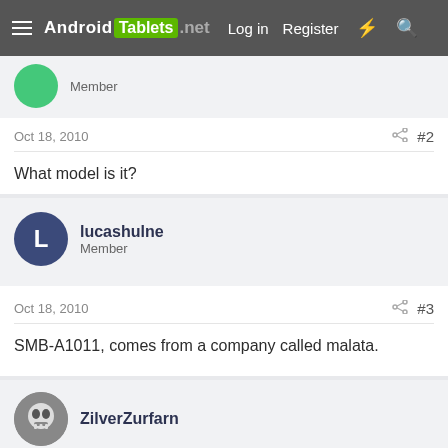Android Tablets .net  Log in  Register
Member
Oct 18, 2010  #2
What model is it?
lucashulne
Member
Oct 18, 2010  #3
SMB-A1011, comes from a company called malata.
ZilverZurfarn